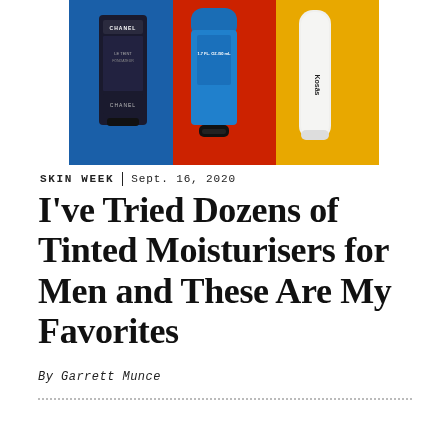[Figure (photo): Product photo collage showing three tinted moisturiser products for men: a dark Chanel bottle on blue background, a blue tube on red background, and a Kosas white tube on yellow background.]
SKIN WEEK | Sept. 16, 2020
I've Tried Dozens of Tinted Moisturisers for Men and These Are My Favorites
By Garrett Munce